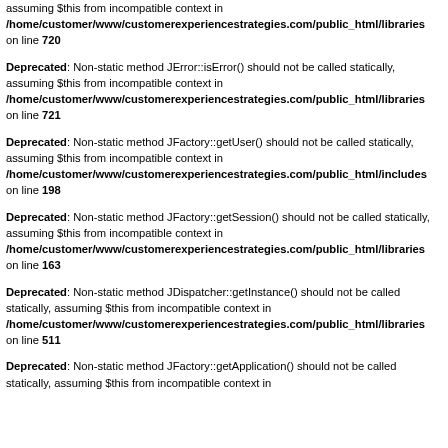assuming $this from incompatible context in /home/customer/www/customerexperiencestrategies.com/public_html/libraries on line 720
Deprecated: Non-static method JError::isError() should not be called statically, assuming $this from incompatible context in /home/customer/www/customerexperiencestrategies.com/public_html/libraries on line 721
Deprecated: Non-static method JFactory::getUser() should not be called statically, assuming $this from incompatible context in /home/customer/www/customerexperiencestrategies.com/public_html/includes on line 198
Deprecated: Non-static method JFactory::getSession() should not be called statically, assuming $this from incompatible context in /home/customer/www/customerexperiencestrategies.com/public_html/libraries on line 163
Deprecated: Non-static method JDispatcher::getInstance() should not be called statically, assuming $this from incompatible context in /home/customer/www/customerexperiencestrategies.com/public_html/libraries on line 511
Deprecated: Non-static method JFactory::getApplication() should not be called statically, assuming $this from incompatible context in